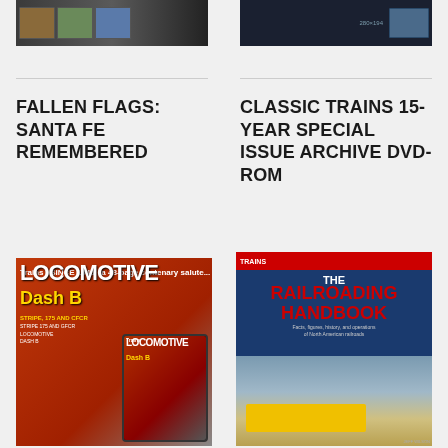[Figure (photo): Top left product image showing train/locomotive magazine or digital product on tablet/screen]
[Figure (photo): Top right product image showing digital product on dark screen]
FALLEN FLAGS: SANTA FE REMEMBERED
CLASSIC TRAINS 15-YEAR SPECIAL ISSUE ARCHIVE DVD-ROM
[Figure (photo): Locomotive magazine print and digital edition showing LOCOMOTIVE DASH B cover with red locomotive]
[Figure (photo): The Railroading Handbook book cover with red title text and yellow Union Pacific locomotive photo]